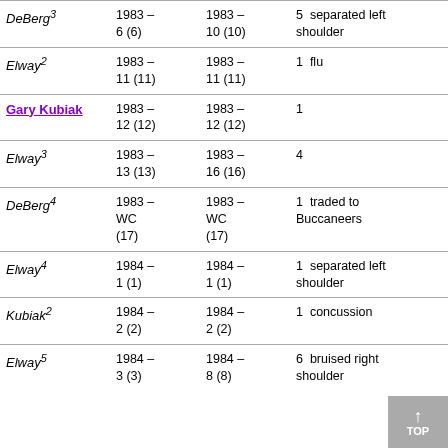| Player | From | To | Note | Record |
| --- | --- | --- | --- | --- |
| DeBerg³ | 1983–
6 (6) | 1983–
10 (10) | 5  separated left shoulder | 4-1 |
| Elway² | 1983–
11 (11) | 1983–
11 (11) | 1  flu | 0-1 |
| Gary Kubiak | 1983–
12 (12) | 1983–
12 (12) | 1 | * 1-0 |
| Elway³ | 1983–
13 (13) | 1983–
16 (16) | 4 | * 2-2 |
| DeBerg⁴ | 1983–
WC
(17) | 1983–
WC
(17) | 1  traded to Buccaneers | 0-1 |
| Elway⁴ | 1984–
1 (1) | 1984–
1 (1) | 1  separated left shoulder | 1-0 |
| Kubiak² | 1984–
2 (2) | 1984–
2 (2) | 1  concussion | 0-1 |
| Elway⁵ | 1984–
3 (3) | 1984–
8 (8) | 6  bruised right shoulder |  |